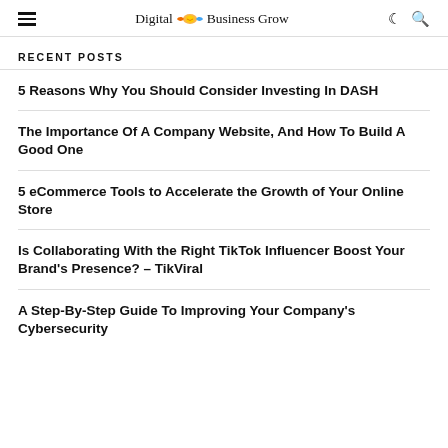Digital Business Grow
RECENT POSTS
5 Reasons Why You Should Consider Investing In DASH
The Importance Of A Company Website, And How To Build A Good One
5 eCommerce Tools to Accelerate the Growth of Your Online Store
Is Collaborating With the Right TikTok Influencer Boost Your Brand's Presence? – TikViral
A Step-By-Step Guide To Improving Your Company's Cybersecurity